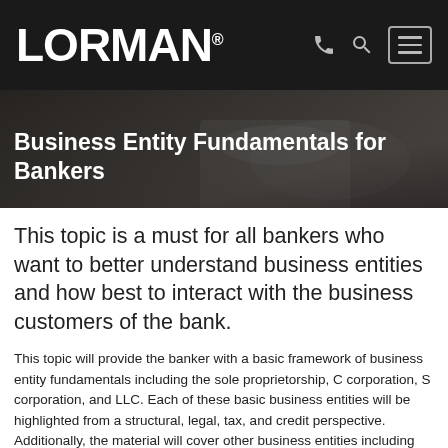LORMAN
Business Entity Fundamentals for Bankers
This topic is a must for all bankers who want to better understand business entities and how best to interact with the business customers of the bank.
This topic will provide the banker with a basic framework of business entity fundamentals including the sole proprietorship, C corporation, S corporation, and LLC. Each of these basic business entities will be highlighted from a structural, legal, tax, and credit perspective. Additionally, the material will cover other business entities including limited